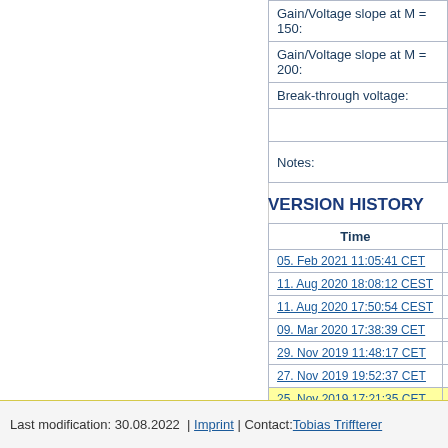|  |  |
| --- | --- |
| Gain/Voltage slope at M = 150: |  |
| Gain/Voltage slope at M = 200: |  |
| Break-through voltage: |  |
|  |  |
| Notes: |  |
VERSION HISTORY
| Time |  |
| --- | --- |
| 05. Feb 2021 11:05:41 CET | jr |
| 11. Aug 2020 18:08:12 CEST | jr |
| 11. Aug 2020 17:50:54 CEST | jr |
| 09. Mar 2020 17:38:39 CET | s |
| 29. Nov 2019 11:48:17 CET | jr |
| 27. Nov 2019 19:52:37 CET | jr |
| 25. Nov 2019 17:21:35 CET | jr |
| 20. Sep 2019 18:42:41 CEST | s |
| 05. Jul 2019 13:54:15 CEST | jr |
| 03. Jan 2019 00:14:53 CET | T |
| 14. Aug 2018 16:04:17 CEST | T |
Last modification: 30.08.2022  | Imprint | Contact: Tobias Triffterer